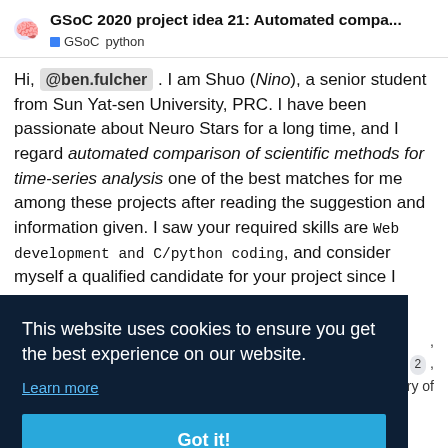GSoC 2020 project idea 21: Automated compa... GSoC python
Hi, @ben.fulcher . I am Shuo (Nino), a senior student from Sun Yat-sen University, PRC. I have been passionate about Neuro Stars for a long time, and I regard automated comparison of scientific methods for time-series analysis one of the best matches for me among these projects after reading the suggestion and information given. I saw your required skills are Web development and C/python coding, and consider myself a qualified candidate for your project since I have some
[Figure (screenshot): Cookie consent banner overlay with dark navy background. Text reads: 'This website uses cookies to ensure you get the best experience on our website.' with a 'Learn more' link and a blue 'Got it!' button.]
I want to know if the...